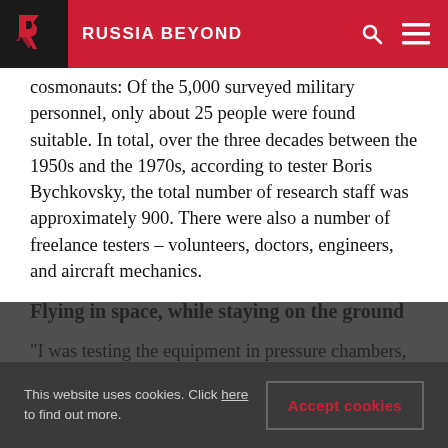RUSSIA BEYOND
cosmonauts: Of the 5,000 surveyed military personnel, only about 25 people were found suitable. In total, over the three decades between the 1950s and the 1970s, according to tester Boris Bychkovsky, the total number of research staff was approximately 900. There were also a number of freelance testers – volunteers, doctors, engineers, and aircraft mechanics.
Flying in space, while staying on the ground
"I was testing the equipment in pressure chambers,
This website uses cookies. Click here to find out more.
Accept cookies